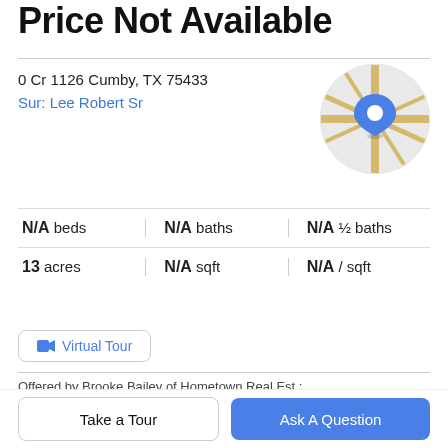Price Not Available
0 Cr 1126
Cumby, TX 75433
Sur: Lee Robert Sr
[Figure (map): Circular map thumbnail showing street map with a blue location pin marker]
N/A beds   N/A baths   N/A ½ baths
13 acres   N/A sqft   N/A / sqft
🎥 Virtual Tour
Offered by Brooke Bailey of Hometown Real Est.: [OFFICEPHONE].
Property Description
Take a Tour
Ask A Question